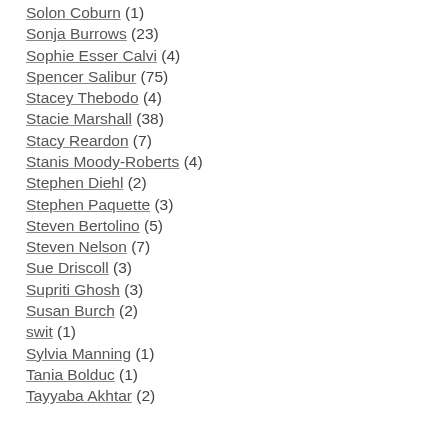Solon Coburn (1)
Sonja Burrows (23)
Sophie Esser Calvi (4)
Spencer Salibur (75)
Stacey Thebodo (4)
Stacie Marshall (38)
Stacy Reardon (7)
Stanis Moody-Roberts (4)
Stephen Diehl (2)
Stephen Paquette (3)
Steven Bertolino (5)
Steven Nelson (7)
Sue Driscoll (3)
Supriti Ghosh (3)
Susan Burch (2)
swit (1)
Sylvia Manning (1)
Tania Bolduc (1)
Tayyaba Akhtar (2)